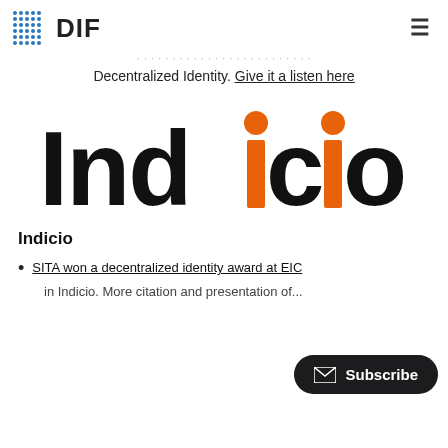DIF
Decentralized Identity. Give it a listen here
[Figure (logo): Indicio logo — large text in black and orange on white background]
Indicio
SITA won a decentralized identity award at EIC
in Indicio. More citation and presentation of...